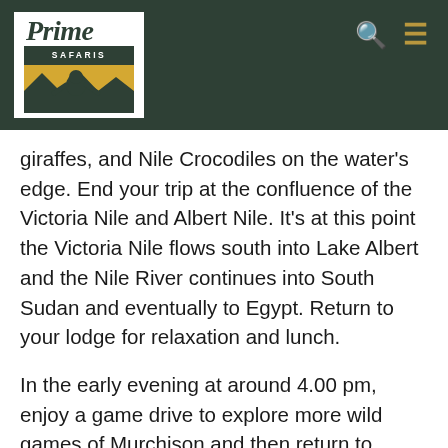[Figure (logo): Prime Safaris logo — white box containing 'Prime' in dark green serif font, 'SAFARIS' in white on dark green bar, and a yellow/gold panel with a silhouette of a gorilla and mountain scenery]
giraffes, and Nile Crocodiles on the water's edge. End your trip at the confluence of the Victoria Nile and Albert Nile. It's at this point the Victoria Nile flows south into Lake Albert and the Nile River continues into South Sudan and eventually to Egypt. Return to your lodge for relaxation and lunch.
In the early evening at around 4.00 pm, enjoy a game drive to explore more wild games of Murchison and then return to